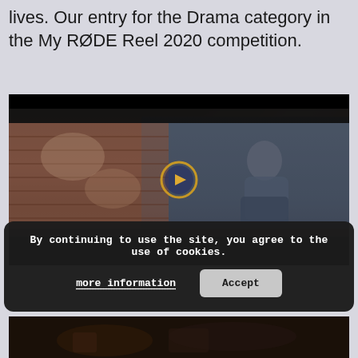lives. Our entry for the Drama category in the My RØDE Reel 2020 competition.
[Figure (photo): A dramatic film still showing a person in blue clothing kneeling in rubble in front of a deteriorating brick wall, with a circular play button overlay in the center of the image. The scene appears to be from a short drama film.]
By continuing to use the site, you agree to the use of cookies.
more information    Accept
[Figure (photo): Partial bottom image showing a dark, dimly lit scene, partially cut off at the bottom of the page.]